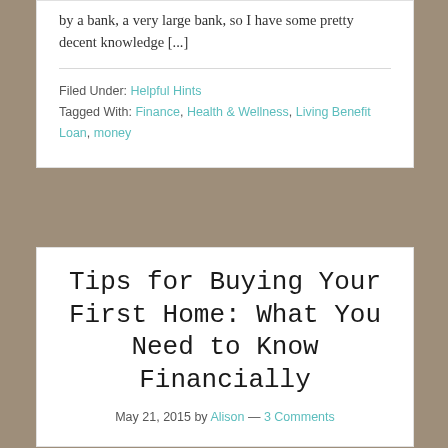by a bank, a very large bank, so I have some pretty decent knowledge [...]
Filed Under: Helpful Hints
Tagged With: Finance, Health & Wellness, Living Benefit Loan, money
Tips for Buying Your First Home: What You Need to Know Financially
May 21, 2015 by Alison — 3 Comments